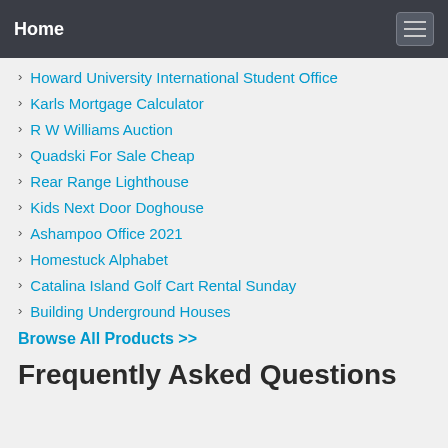Home
Howard University International Student Office
Karls Mortgage Calculator
R W Williams Auction
Quadski For Sale Cheap
Rear Range Lighthouse
Kids Next Door Doghouse
Ashampoo Office 2021
Homestuck Alphabet
Catalina Island Golf Cart Rental Sunday
Building Underground Houses
Browse All Products >>
Frequently Asked Questions